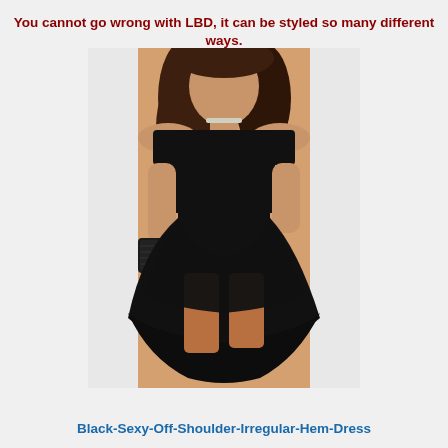You cannot go wrong with LBD, it can be styled so many different ways.
[Figure (photo): A woman wearing a black off-shoulder irregular hem dress, holding a black clutch purse. The dress has a skater-style skirt with a high-low hem.]
Black-Sexy-Off-Shoulder-Irregular-Hem-Dress